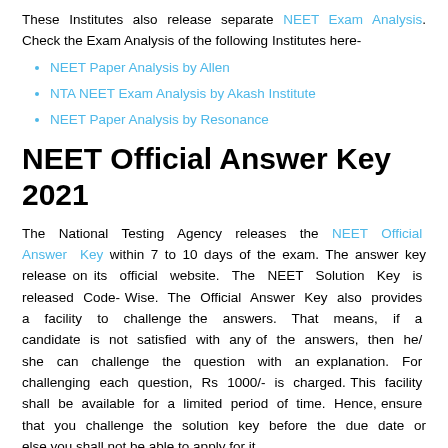These Institutes also release separate NEET Exam Analysis. Check the Exam Analysis of the following Institutes here-
NEET Paper Analysis by Allen
NTA NEET Exam Analysis by Akash Institute
NEET Paper Analysis by Resonance
NEET Official Answer Key 2021
The National Testing Agency releases the NEET Official Answer Key within 7 to 10 days of the exam. The answer key release on its official website. The NEET Solution Key is released Code-Wise. The Official Answer Key also provides a facility to challenge the answers. That means, if a candidate is not satisfied with any of the answers, then he/ she can challenge the question with an explanation. For challenging each question, Rs 1000/- is charged. This facility shall be available for a limited period of time. Hence, ensure that you challenge the solution key before the due date or else you shall not be able to apply for it.